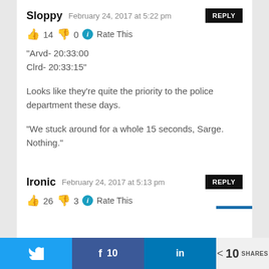Sloppy   February 24, 2017 at 5:22 pm   REPLY
👍 14 👎 0 ℹ Rate This
“Arvd- 20:33:00
Clrd- 20:33:15”
Looks like they’re quite the priority to the police department these days.
“We stuck around for a whole 15 seconds, Sarge. Nothing.”
Ironic   February 24, 2017 at 5:13 pm   REPLY
👍 26 👎 3 ℹ Rate This
Twitter  Facebook 10  LinkedIn  < 10 SHARES